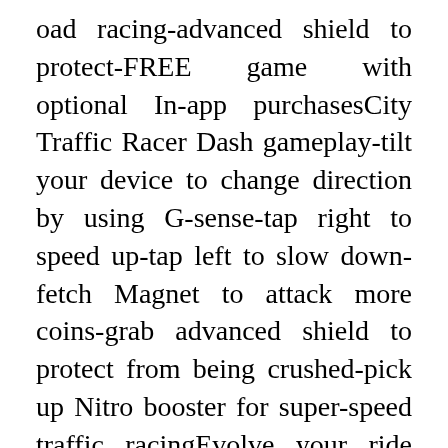oad racing-advanced shield to protect-FREE game with optional In-app purchasesCity Traffic Racer Dash gameplay-tilt your device to change direction by using G-sense-tap right to speed up-tap left to slow down-fetch Magnet to attack more coins-grab advanced shield to protect from being crushed-pick up Nitro booster for super-speed traffic racingEvolve your ride and push it to it's limit to compete donuts like a champion!In GTA San Andreas MOD APK, the arrow mark and location mark will explore your mission place when you start the game. After you reach the mission place, you can get the new mission from the local area mafia teams. After finishing every mission, the game will start a new story for you. Each complete of missions, you get some rewards. Upcoming missions are available in different locations. Not all missions happen in exact locations.<p>Kabam has taken the Pokémon formula of catching creatures, training them, and then forcing them to battle to a new fantasy in Creature Academy.</p><p>It is not, however, much like a Pokémon RPG to play. It's actually a real-time 3D arena battler. So you need to control y